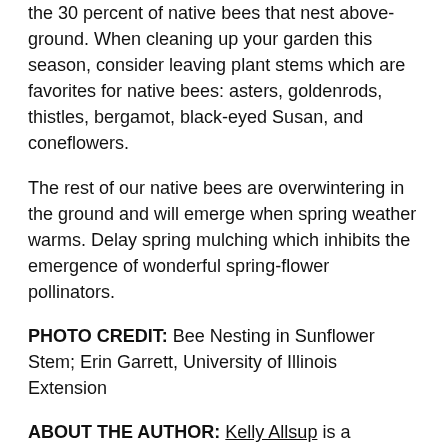the 30 percent of native bees that nest above-ground. When cleaning up your garden this season, consider leaving plant stems which are favorites for native bees: asters, goldenrods, thistles, bergamot, black-eyed Susan, and coneflowers.
The rest of our native bees are overwintering in the ground and will emerge when spring weather warms. Delay spring mulching which inhibits the emergence of wonderful spring-flower pollinators.
PHOTO CREDIT: Bee Nesting in Sunflower Stem; Erin Garrett, University of Illinois Extension
ABOUT THE AUTHOR: Kelly Allsup is a Horticulture Educator for University of Illinois Extension serving Livingston, McLean and Woodford Counties. She meets the educational needs of her community, including local